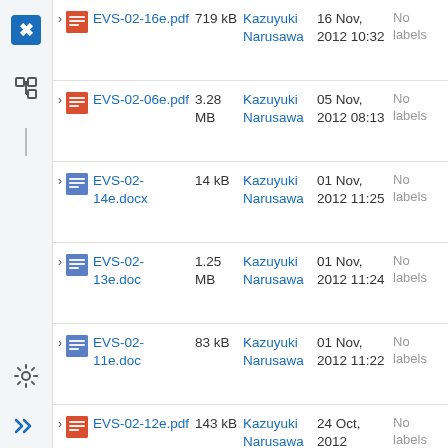EVS-02-16e.pdf, 719 kB, Kazuyuki Narusawa, 16 Nov, 2012 10:32, No labels
EVS-02-06e.pdf, 3.28 MB, Kazuyuki Narusawa, 05 Nov, 2012 08:13, No labels
EVS-02-14e.docx, 14 kB, Kazuyuki Narusawa, 01 Nov, 2012 11:25, No labels
EVS-02-13e.doc, 1.25 MB, Kazuyuki Narusawa, 01 Nov, 2012 11:24, No labels
EVS-02-11e.doc, 83 kB, Kazuyuki Narusawa, 01 Nov, 2012 11:22, No labels
EVS-02-12e.pdf, 143 kB, Kazuyuki Narusawa, 24 Oct, 2012, No labels